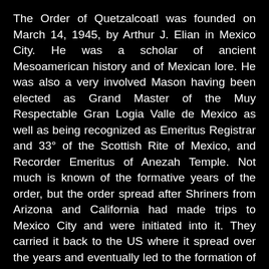The Order of Quetzalcoatl was founded on March 14, 1945, by Arthur J. Elian in Mexico City. He was a scholar of ancient Mesoamerican history and of Mexican lore. He was also a very involved Mason having been elected as Grand Master of the Muy Respectable Gran Logia Valle de Mexico as well as being recognized as Emeritus Registrar and 33° of the Scottish Rite of Mexico, and Recorder Emeritus of Anezah Temple. Not much is known of the formative years of the order, but the order spread after Shriners from Arizona and California had made trips to Mexico City and were initiated into it. They carried it back to the US where it spread over the years and eventually led to the formation of the Supreme Teocalli.
This order takes its name from an ancient Mesoamerican god by the same name. Quetzalcoatl is known as the Plumed Serpent and his name comes from the Nahuatl words "quetzalli" meaning "precious feather" and "coatl" meaning "serpent". Quetzalcoatl was a storm god who was considered the creator of the world and mankind, and is often associated with the rain god, Tláloc. He was considered the patron and god of learning, science...